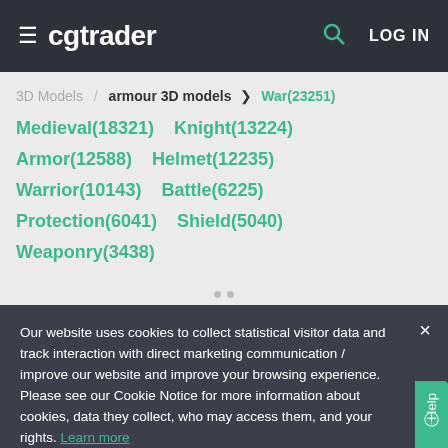≡ cgtrader  LOG IN
3D Models / armour 3D models > War(23251) Medieval(18321) Knight(13224) Armor(12588) Helmet(12235) Warrior(10143) Battle(6225) Protection(6041) Shield(5040) Weaponry(3438)
Our website uses cookies to collect statistical visitor data and track interaction with direct marketing communication / improve our website and improve your browsing experience. Please see our Cookie Notice for more information about cookies, data they collect, who may access them, and your rights. Learn more
20  0